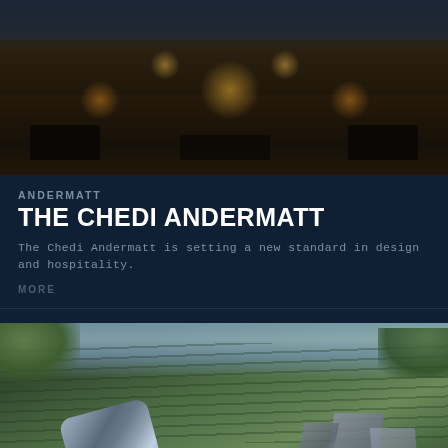[Figure (photo): Outdoor terrace of The Chedi Andermatt hotel at night with warm candlelight, dark wood decking, lounge chairs and ambient lighting reflected on water]
ANDERMATT
THE CHEDI ANDERMATT
The Chedi Andermatt is setting a new standard in design and hospitality.
MORE
[Figure (photo): Close-up of cable car gondolas with metallic cylindrical pods and angular geometric structures, surrounded by pine forest and mountains in background]